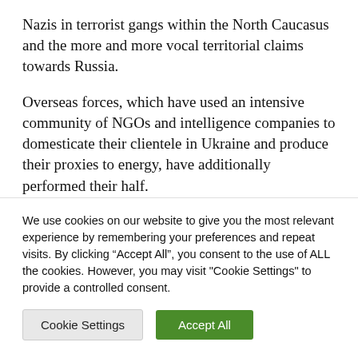Nazis in terrorist gangs within the North Caucasus and the more and more vocal territorial claims towards Russia.
Overseas forces, which have used an intensive community of NGOs and intelligence companies to domesticate their clientele in Ukraine and produce their proxies to energy, have additionally performed their half.
It is usually necessary to grasp that Ukraine has
We use cookies on our website to give you the most relevant experience by remembering your preferences and repeat visits. By clicking "Accept All", you consent to the use of ALL the cookies. However, you may visit "Cookie Settings" to provide a controlled consent.